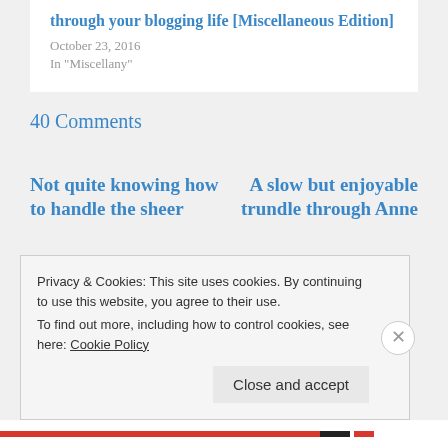through your blogging life [Miscellaneous Edition]
October 23, 2016
In "Miscellany"
40 Comments
Not quite knowing how to handle the sheer
A slow but enjoyable trundle through Anne
Privacy & Cookies: This site uses cookies. By continuing to use this website, you agree to their use.
To find out more, including how to control cookies, see here: Cookie Policy
Close and accept